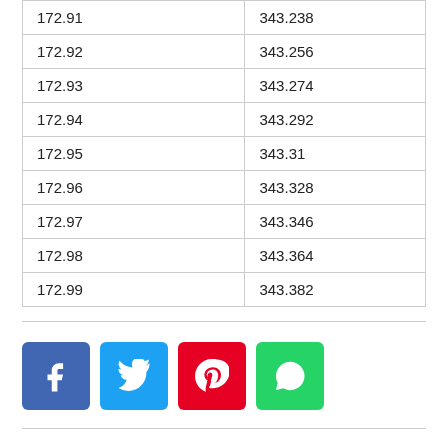| 172.91 | 343.238 |
| 172.92 | 343.256 |
| 172.93 | 343.274 |
| 172.94 | 343.292 |
| 172.95 | 343.31 |
| 172.96 | 343.328 |
| 172.97 | 343.346 |
| 172.98 | 343.364 |
| 172.99 | 343.382 |
[Figure (other): Social sharing buttons: Facebook (blue), Twitter (light blue), Pinterest (red), WhatsApp (green)]